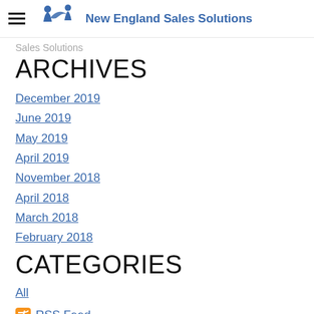New England Sales Solutions
Sales Solutions
ARCHIVES
December 2019
June 2019
May 2019
April 2019
November 2018
April 2018
March 2018
February 2018
CATEGORIES
All
RSS Feed